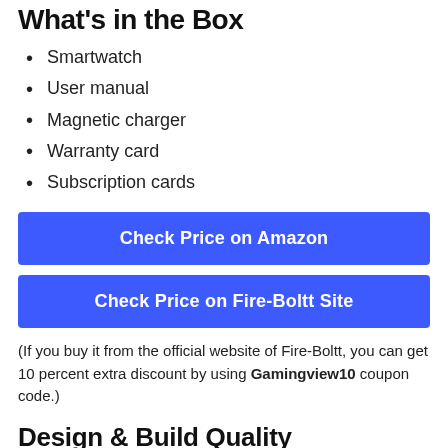What's in the Box
Smartwatch
User manual
Magnetic charger
Warranty card
Subscription cards
Check Price on Amazon
Check Price on Fire-Boltt Site
(If you buy it from the official website of Fire-Boltt, you can get 10 percent extra discount by using Gamingview10 coupon code.)
Design & Build Quality